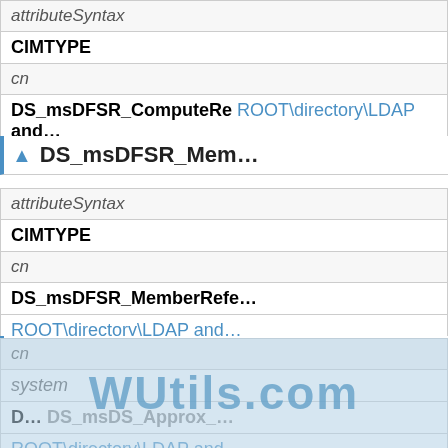| attributeSyntax |
| CIMTYPE |
| cn |
| DS_msDFSR_ComputerRe… | ROOT\directory\LDAP and… |
▲ DS_msDFSR_Mem…
| attributeSyntax |
| CIMTYPE |
| cn |
| DS_msDFSR_MemberRefe… |
| ROOT\directory\LDAP and… |
▲ DS_msDS_Approx_…
| attributeSyntax |
| CIMTYPE |
| cn |
| system |
| D… DS_msDS_Approx_… |
| ROOT\directory\LDAP and… |